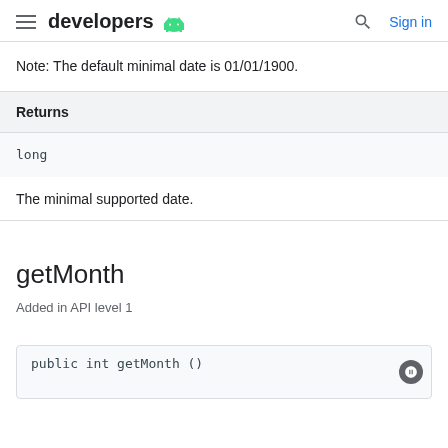developers | Sign in
Note: The default minimal date is 01/01/1900.
| Returns |
| --- |
| long |
The minimal supported date.
getMonth
Added in API level 1
public int getMonth ()